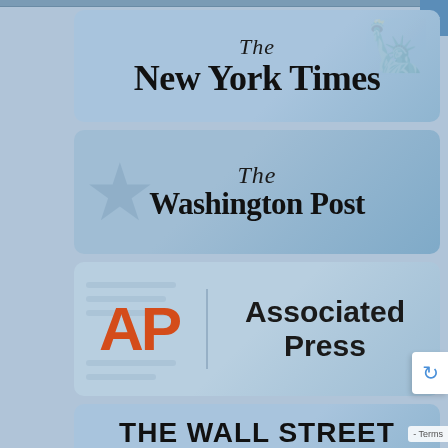[Figure (logo): The New York Times newspaper logo in blackletter font on a light blue card]
[Figure (logo): The Washington Post newspaper logo in blackletter font on a light blue card with American flag watermark]
[Figure (logo): Associated Press logo with orange AP monogram and Associated Press text on light blue card]
[Figure (logo): The Wall Street Journal logo in bold sans-serif uppercase on light blue card (partially visible)]